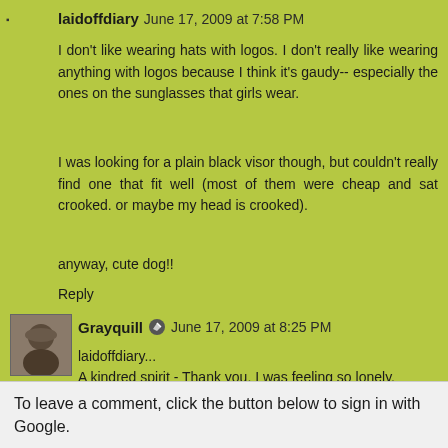laidoffdiary June 17, 2009 at 7:58 PM
I don't like wearing hats with logos. I don't really like wearing anything with logos because I think it's gaudy-- especially the ones on the sunglasses that girls wear.
I was looking for a plain black visor though, but couldn't really find one that fit well (most of them were cheap and sat crooked. or maybe my head is crooked).
anyway, cute dog!!
Reply
Grayquill June 17, 2009 at 8:25 PM
laidoffdiary...
A kindred spirit - Thank you, I was feeling so lonely.
Reply
To leave a comment, click the button below to sign in with Google.